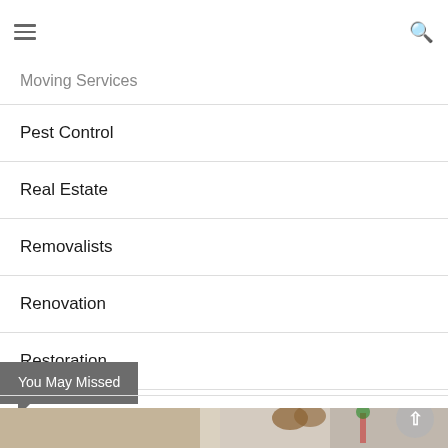Moving Services
Pest Control
Real Estate
Removalists
Renovation
Restoration
Roofing
Windows & Doors
You May Missed
[Figure (photo): People wearing holiday/Christmas decorations including reindeer antlers, photographed indoors]